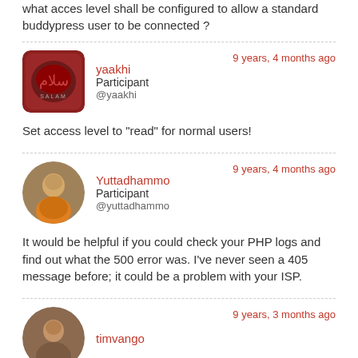what acces level shall be configured to allow a standard buddypress user to be connected ?
9 years, 4 months ago
yaakhi
Participant
@yaakhi
Set access level to "read" for normal users!
9 years, 4 months ago
Yuttadhammo
Participant
@yuttadhammo
It would be helpful if you could check your PHP logs and find out what the 500 error was. I've never seen a 405 message before; it could be a problem with your ISP.
9 years, 3 months ago
timvango